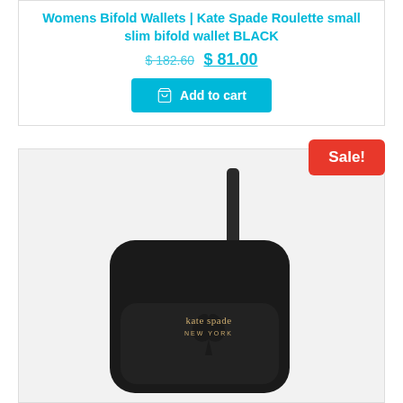Womens Bifold Wallets | Kate Spade Roulette small slim bifold wallet BLACK
$ 182.60  $ 81.00
Add to cart
[Figure (photo): Kate Spade black leather crossbody bag with gold 'kate spade NEW YORK' lettering and spade cutout detail on front pocket, shown against a light gray background. A 'Sale!' badge in red appears in the top right corner.]